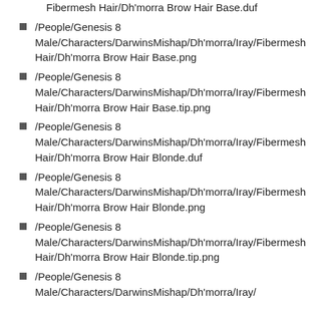Fibermesh Hair/Dh'morra Brow Hair Base.duf
/People/Genesis 8 Male/Characters/DarwinsMishap/Dh'morra/Iray/Fibermesh Hair/Dh'morra Brow Hair Base.png
/People/Genesis 8 Male/Characters/DarwinsMishap/Dh'morra/Iray/Fibermesh Hair/Dh'morra Brow Hair Base.tip.png
/People/Genesis 8 Male/Characters/DarwinsMishap/Dh'morra/Iray/Fibermesh Hair/Dh'morra Brow Hair Blonde.duf
/People/Genesis 8 Male/Characters/DarwinsMishap/Dh'morra/Iray/Fibermesh Hair/Dh'morra Brow Hair Blonde.png
/People/Genesis 8 Male/Characters/DarwinsMishap/Dh'morra/Iray/Fibermesh Hair/Dh'morra Brow Hair Blonde.tip.png
/People/Genesis 8 Male/Characters/DarwinsMishap/Dh'morra/Iray/